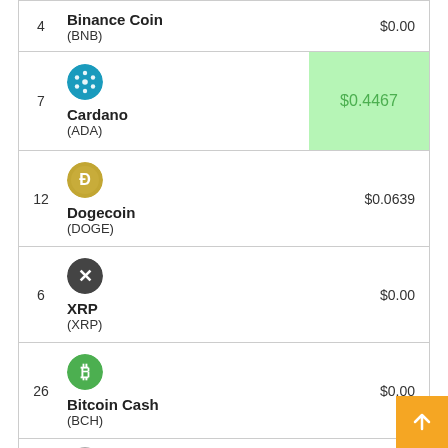| Rank | Coin | Price |
| --- | --- | --- |
| 4 | Binance Coin (BNB) | $0.00 |
| 7 | Cardano (ADA) | $0.4467 |
| 12 | Dogecoin (DOGE) | $0.0639 |
| 6 | XRP (XRP) | $0.00 |
| 26 | Bitcoin Cash (BCH) | $0.00 |
| 20 | Litecoin (LTC) | $0.00 |